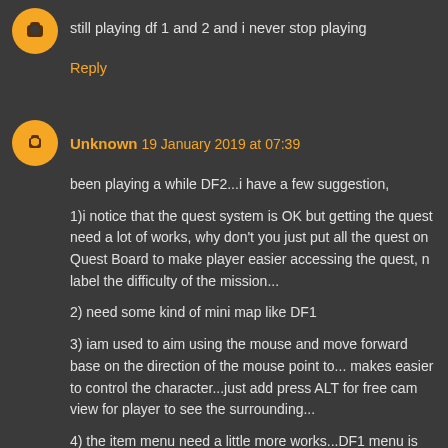still playing df 1 and 2 and i never stop playing
Reply
Unknown 19 January 2019 at 07:39
been playing a while DF2...i have a few suggestion,
1)i notice that the quest system is OK but getting the quest need a lot of works, why don't you just put all the quest on Quest Board to make player easier accessing the quest, n label the difficulty of the mission...
2) need some kind of mini map like DF1
3) iam used to aim using the mouse and move forward base on the direction of the mouse point to... makes easier to control the character...just add press ALT for free cam view for player to see the surrounding...
4) the item menu need a little more works...DF1 menu is much more easy to manage... :P